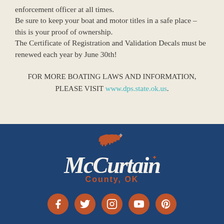enforcement officer at all times.
Be sure to keep your boat and motor titles in a safe place – this is your proof of ownership.
The Certificate of Registration and Validation Decals must be renewed each year by June 30th!
FOR MORE BOATING LAWS AND INFORMATION, PLEASE VISIT www.dps.state.ok.us.
[Figure (logo): McCurtain County, OK logo with Oklahoma state shape in orange/rust color above stylized script text 'McCurtain' in cream/white and 'County, OK' in orange below]
[Figure (infographic): Five social media icons in orange circles: Facebook, Twitter, Instagram, YouTube, Pinterest]